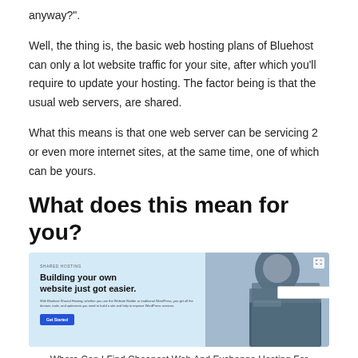anyway?".
Well, the thing is, the basic web hosting plans of Bluehost can only a lot website traffic for your site, after which you'll require to update your hosting. The factor being is that the usual web servers, are shared.
What this means is that one web server can be servicing 2 or even more internet sites, at the same time, one of which can be yours.
What does this mean for you?
[Figure (screenshot): Bluehost shared hosting promotional screenshot showing 'Building your own website just got easier.' with a chef/cook photo on the right side.]
Where Can I Find Cheapest Web And Exchange Hosting For